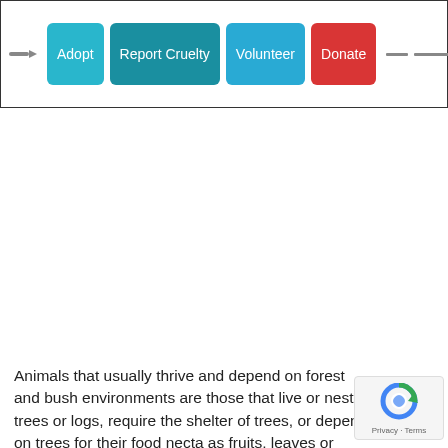[Figure (screenshot): Website header navigation bar with logo icon on the left and four colored buttons: Adopt (cyan), Report Cruelty (dark teal), Volunteer (blue), Donate (red), followed by navigation lines on the right.]
Animals that usually thrive and depend on forest and bush environments are those that live or nest in trees or logs, require the shelter of trees, or depend on trees for their food nectar as fruits, leaves or arboreal insects.
[Figure (logo): reCAPTCHA badge with spinning arrow icon and Privacy · Terms text]